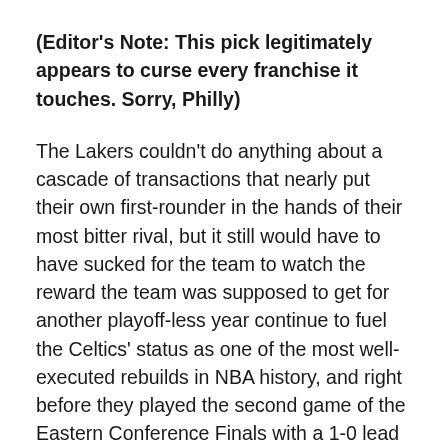(Editor's Note: This pick legitimately appears to curse every franchise it touches. Sorry, Philly)
The Lakers couldn't do anything about a cascade of transactions that nearly put their own first-rounder in the hands of their most bitter rival, but it still would have to have sucked for the team to watch the reward the team was supposed to get for another playoff-less year continue to fuel the Celtics' status as one of the most well-executed rebuilds in NBA history, and right before they played the second game of the Eastern Conference Finals with a 1-0 lead despite missing (on paper) their two best players, to boot.
But Lady Luck was kind to the Lakers in yet another lottery, just as she was in allowing the team to narrowly avoid forfeiting their first-rounder for the last three